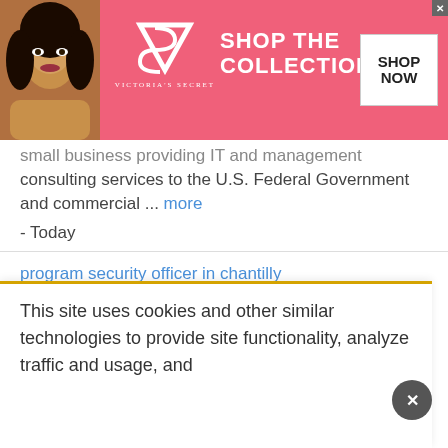[Figure (screenshot): Victoria's Secret advertisement banner with model photo on left, VS logo and 'SHOP THE COLLECTION' text in pink, and a white 'SHOP NOW' call-to-action button]
small business providing IT and management consulting services to the U.S. Federal Government and commercial ... more
- Today
program security officer in chantilly
Saic (science Applications Int.) - chantilly , va
Job DescriptionDescriptionSAIC is seeking an experienced Program Security Officer to join our team of qualified and diverse individuals at our
This site uses cookies and other similar technologies to provide site functionality, analyze traffic and usage, and